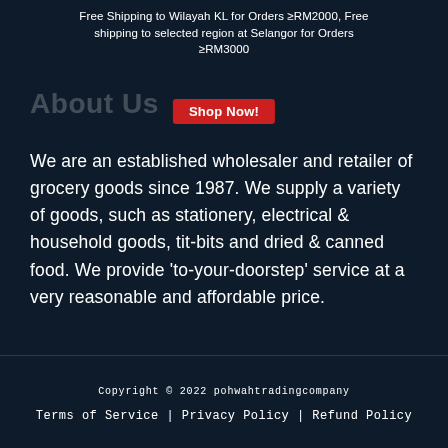Free Shipping to Wilayah KL for Orders ≥RM2000, Free shipping to selected region at Selangor for Orders ≥RM3000
[Figure (other): Red 'Shop Now!' call-to-action button overlaid on the page banner area]
About Us
We are an established wholesaler and retailer of grocery goods since 1987. We supply a variety of goods, such as stationery, electrical & household goods, tit-bits and dried & canned food. We provide 'to-your-doorstep' service at a very reasonable and affordable price.
Copyright © 2022 pohwahtradingcompany
Terms of Service | Privacy Policy | Refund Policy